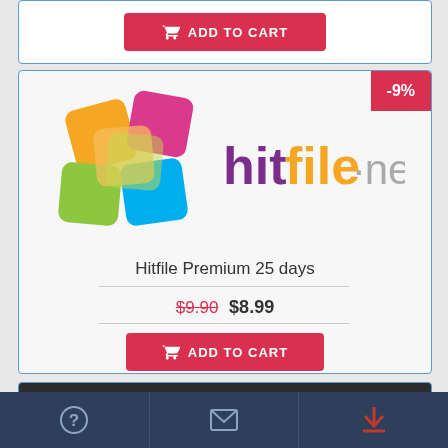[Figure (screenshot): Partial view of a product card with a red 'ADD TO CART' button at the top of the page]
[Figure (logo): Hitfile.net logo - colorful interlocking folder shapes with purple 'hit', orange 'file', gray '.net' text]
Hitfile Premium 25 days
$9.90  $8.99
[Figure (screenshot): Red ADD TO CART button with shopping cart icon]
[Figure (logo): Hotlink logo on dark background - red flame icon with white italic Hotlink text]
[Figure (screenshot): Bottom navigation bar with question mark, envelope, and download icons on dark blue background]